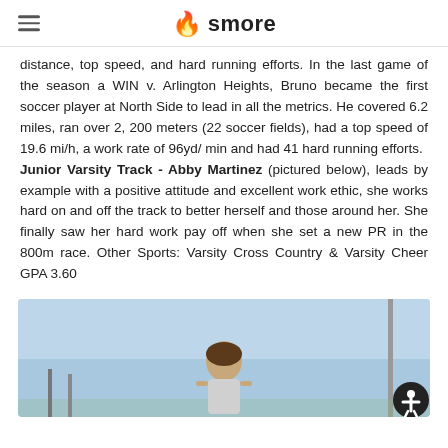smore
distance, top speed, and hard running efforts. In the last game of the season a WIN v. Arlington Heights, Bruno became the first soccer player at North Side to lead in all the metrics. He covered 6.2 miles, ran over 2, 200 meters (22 soccer fields), had a top speed of 19.6 mi/h, a work rate of 96yd/ min and had 41 hard running efforts. Junior Varsity Track - Abby Martinez (pictured below), leads by example with a positive attitude and excellent work ethic, she works hard on and off the track to better herself and those around her. She finally saw her hard work pay off when she set a new PR in the 800m race. Other Sports: Varsity Cross Country & Varsity Cheer GPA 3.60
[Figure (photo): Photo of Abby Martinez outdoors, light blue sky background]